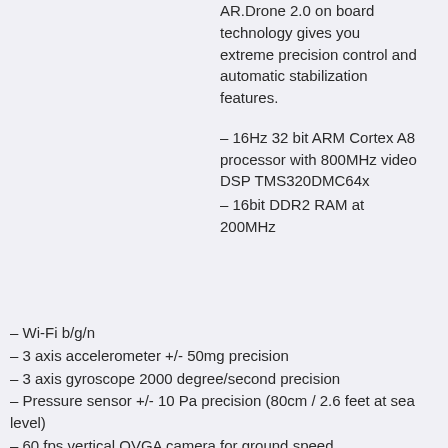AR.Drone 2.0 on board technology gives you extreme precision control and automatic stabilization features.
– 16Hz 32 bit ARM Cortex A8 processor with 800MHz video DSP TMS320DMC64x
– 16bit DDR2 RAM at 200MHz
– Wi-Fi b/g/n
– 3 axis accelerometer +/- 50mg precision
– 3 axis gyroscope 2000 degree/second precision
– Pressure sensor +/- 10 Pa precision (80cm / 2.6 feet at sea level)
– 60 fps vertical QVGA camera for ground speed